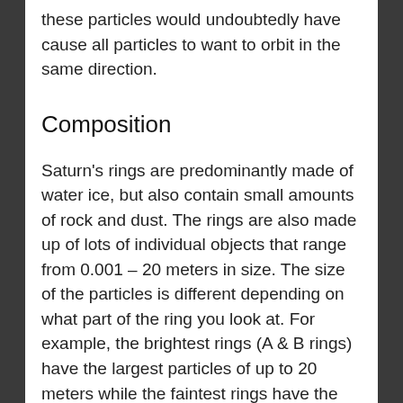these particles would undoubtedly have cause all particles to want to orbit in the same direction.
Composition
Saturn's rings are predominantly made of water ice, but also contain small amounts of rock and dust. The rings are also made up of lots of individual objects that range from 0.001 – 20 meters in size. The size of the particles is different depending on what part of the ring you look at. For example, the brightest rings (A & B rings) have the largest particles of up to 20 meters while the faintest rings have the smallest particles (D & F rings). The small amount of dust and rock likely comes from asteroids and comets crashing into the rings (Fig 5). The Cassini spacecraft captured fast moving objects colliding with the rings creating large